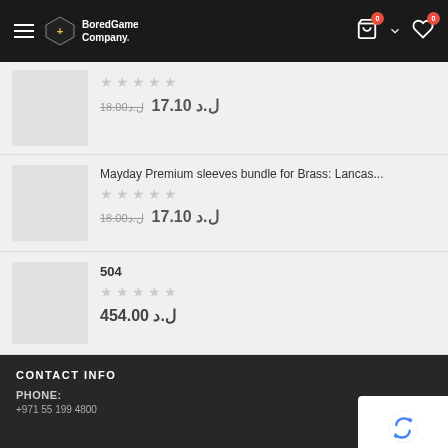BoredGame Company - Header navigation with logo, cart (0), and wishlist (0)
Product 1: Rating stars, price original ل.د 18.00, sale price ل.د 17.10
Mayday Premium sleeves bundle for Brass: Lancas...
Rating stars
ل.د 18.00  ل.د 17.10
504
Rating stars
ل.د 454.00
CONTACT INFO
PHONE:
+971 55 199 4800